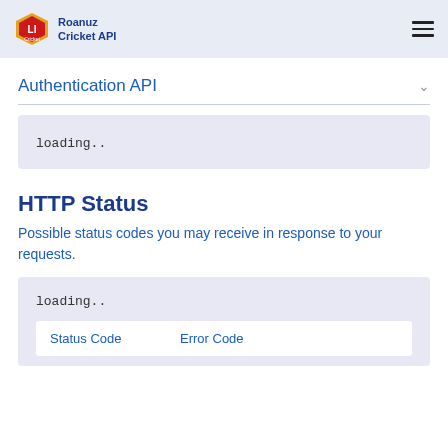Roanuz Cricket API
Authentication API
loading..
HTTP Status
Possible status codes you may receive in response to your requests.
loading..
| Status Code | Error Code |
| --- | --- |